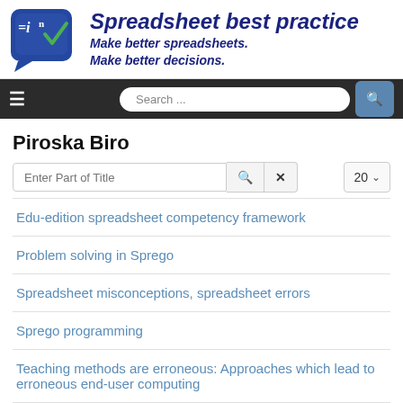[Figure (logo): Spreadsheet best practice logo with blue speech bubble icon containing formula notation]
Spreadsheet best practice
Make better spreadsheets.
Make better decisions.
Search ...
Piroska Biro
Enter Part of Title
Edu-edition spreadsheet competency framework
Problem solving in Sprego
Spreadsheet misconceptions, spreadsheet errors
Sprego programming
Teaching methods are erroneous: Approaches which lead to erroneous end-user computing